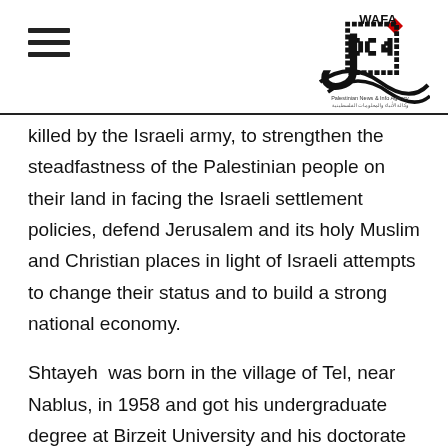WAFA - Palestinian News & Info Agency
killed by the Israeli army, to strengthen the steadfastness of the Palestinian people on their land in facing the Israeli settlement policies, defend Jerusalem and its holy Muslim and Christian places in light of Israeli attempts to change their status and to build a strong national economy.
Shtayeh was born in the village of Tel, near Nablus, in 1958 and got his undergraduate degree at Birzeit University and his doctorate degree in economics from the University of Sussex in the United Kingdom.
He also served as director of the Palestinian